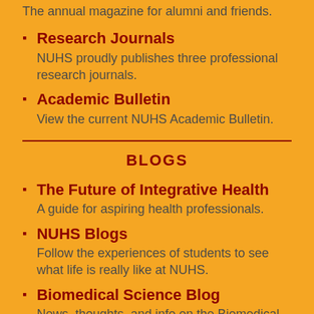The annual magazine for alumni and friends.
Research Journals
NUHS proudly publishes three professional research journals.
Academic Bulletin
View the current NUHS Academic Bulletin.
BLOGS
The Future of Integrative Health
A guide for aspiring health professionals.
NUHS Blogs
Follow the experiences of students to see what life is really like at NUHS.
Biomedical Science Blog
News, thoughts, and info on the Biomedical